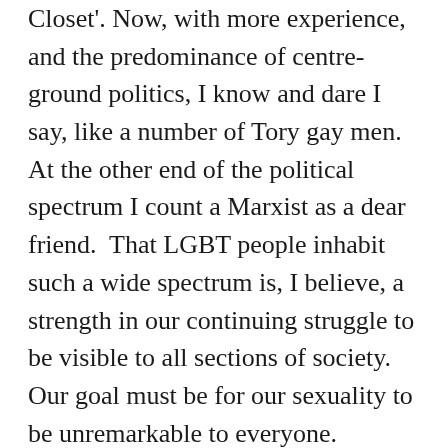Closet'. Now, with more experience, and the predominance of centre-ground politics, I know and dare I say, like a number of Tory gay men.  At the other end of the political spectrum I count a Marxist as a dear friend.  That LGBT people inhabit such a wide spectrum is, I believe, a strength in our continuing struggle to be visible to all sections of society.  Our goal must be for our sexuality to be unremarkable to everyone.
So, the representation of workers from banks, supermarkets the Civil Service and other corporations in this year's pride is surely a good step in spreading the 'Some people are gay – get over it' campaign and taking the revolution to new levels.  Back in the eighties